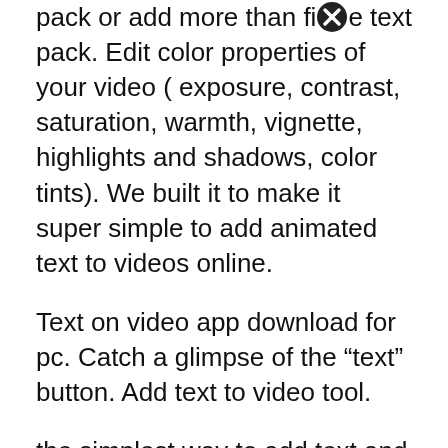pack or add more than five text pack. Edit color properties of your video ( exposure, contrast, saturation, warmth, vignette, highlights and shadows, color tints). We built it to make it super simple to add animated text to videos online.
Text on video app download for pc. Catch a glimpse of the “text” button. Add text to video tool.
the simplest way to add text and music to your videos narrate your story and give your life a soundtrack. We decided to share a text to speech option integrated with google text to speech api after many requests from our clients. Over 20 video and audio effects for all levels of experience.
Download free for windows pc download free for